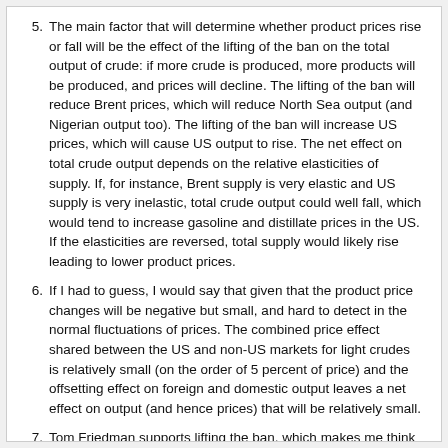5. The main factor that will determine whether product prices rise or fall will be the effect of the lifting of the ban on the total output of crude: if more crude is produced, more products will be produced, and prices will decline. The lifting of the ban will reduce Brent prices, which will reduce North Sea output (and Nigerian output too). The lifting of the ban will increase US prices, which will cause US output to rise. The net effect on total crude output depends on the relative elasticities of supply. If, for instance, Brent supply is very elastic and US supply is very inelastic, total crude output could well fall, which would tend to increase gasoline and distillate prices in the US. If the elasticities are reversed, total supply would likely rise leading to lower product prices.
6. If I had to guess, I would say that given that the product price changes will be negative but small, and hard to detect in the normal fluctuations of prices. The combined price effect shared between the US and non-US markets for light crudes is relatively small (on the order of 5 percent of price) and the offsetting effect on foreign and domestic output leaves a net effect on output (and hence prices) that will be relatively small.
7. Tom Friedman supports lifting the ban, which makes me think twice. Friedman also says that lifting the ban will cause crude prices to drop by $25/bbl and thereby crush Putin and Iran and ISIS, thereby saving Ukraine and the MIddle East. Tom Friedman is an idiot. Pay no attention.